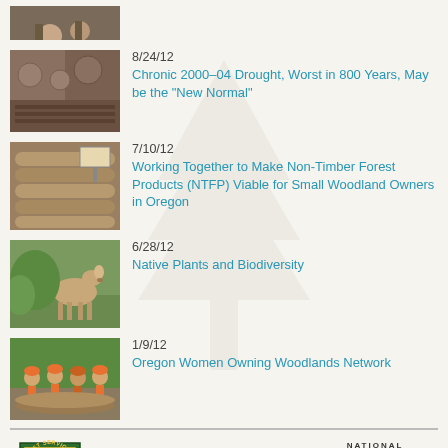[Figure (photo): Partial thumbnail of people in a wooded area at top of page]
8/24/12
Chronic 2000–04 Drought, Worst in 800 Years, May be the "New Normal"
7/10/12
Working Together to Make Non-Timber Forest Products (NTFP) Viable for Small Woodland Owners in Oregon
6/28/12
Native Plants and Biodiversity
1/9/12
Oregon Women Owning Woodlands Network
© 2020 National Woodland Owners Association and the USDA Forest Service.